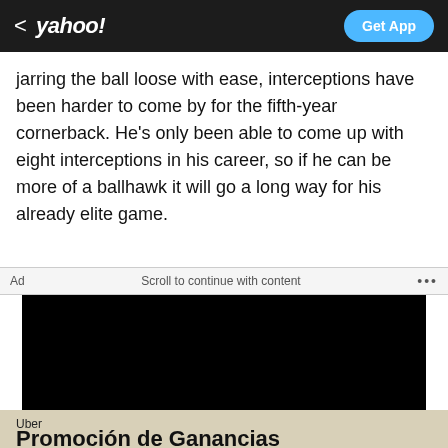< yahoo! | Get App
jarring the ball loose with ease, interceptions have been harder to come by for the fifth-year cornerback. He's only been able to come up with eight interceptions in his career, so if he can be more of a ballhawk it will go a long way for his already elite game.
Ad   Scroll to continue with content   ...
[Figure (other): Black advertisement video/image placeholder rectangle]
Uber
Promoción de Ganancias
Promoción de ganancias disponible al